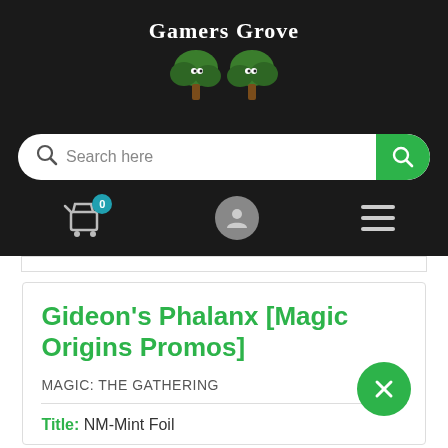[Figure (logo): Gamers Grove logo with two illustrated trees and white text 'Gamers Grove' above them on a dark background]
[Figure (screenshot): Search bar with magnifying glass icon, placeholder text 'Search here', and a green rounded search button on the right]
[Figure (screenshot): Navigation icons row: shopping cart with badge showing 0, user account circle, and hamburger menu on dark background]
Gideon's Phalanx [Magic Origins Promos]
MAGIC: THE GATHERING
Title: NM-Mint Foil